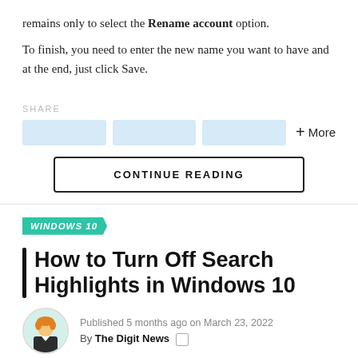remains only to select the Rename account option.
To finish, you need to enter the new name you want to have and at the end, just click Save.
SHARE
[Figure (screenshot): Three blurred social share buttons in blue, followed by a + More option]
[Figure (screenshot): CONTINUE READING button with black border]
WINDOWS 10
How to Turn Off Search Highlights in Windows 10
Published 5 months ago on March 23, 2022
By The Digit News